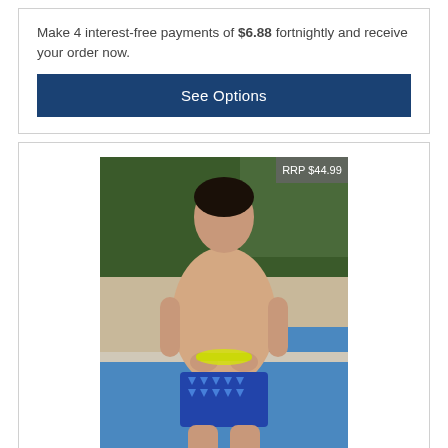Make 4 interest-free payments of $6.88 fortnightly and receive your order now.
See Options
[Figure (photo): Man wearing blue triangle-patterned swim briefs standing by a pool, holding yellow goggles. RRP $44.99 badge visible in top right corner.]
Mens Brief - Blue Triangles MPP82